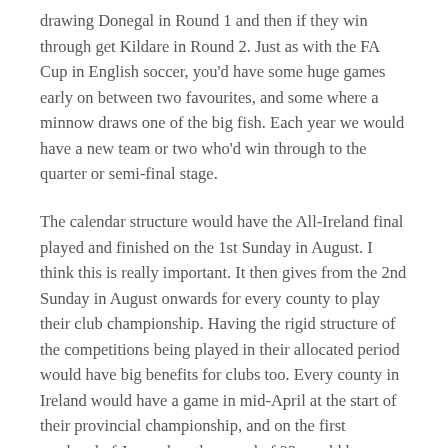drawing Donegal in Round 1 and then if they win through get Kildare in Round 2. Just as with the FA Cup in English soccer, you'd have some huge games early on between two favourites, and some where a minnow draws one of the big fish. Each year we would have a new team or two who'd win through to the quarter or semi-final stage.
The calendar structure would have the All-Ireland final played and finished on the 1st Sunday in August. I think this is really important. It then gives from the 2nd Sunday in August onwards for every county to play their club championship. Having the rigid structure of the competitions being played in their allocated period would have big benefits for clubs too. Every county in Ireland would have a game in mid-April at the start of their provincial championship, and on the first weekend of June when the round of 32 would be played. Every clubman in the country would know at Christmas one summer fortnight period when their club championship definitely wouldn't be played,